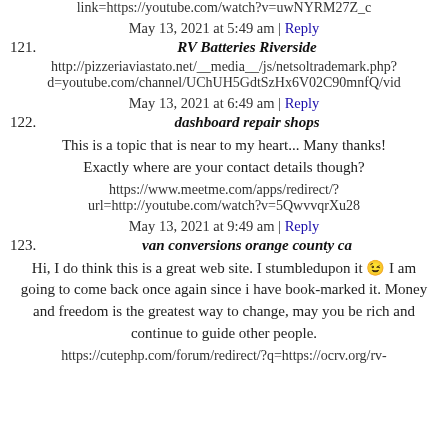link=https://youtube.com/watch?v=uwNYRM27Z_c
May 13, 2021 at 5:49 am | Reply
121. RV Batteries Riverside
http://pizzeriaviastato.net/__media__/js/netsoltrademark.php?d=youtube.com/channel/UChUH5GdtSzHx6V02C90mnfQ/vid
May 13, 2021 at 6:49 am | Reply
122. dashboard repair shops
This is a topic that is near to my heart... Many thanks! Exactly where are your contact details though?
https://www.meetme.com/apps/redirect/?url=http://youtube.com/watch?v=5QwvvqrXu28
May 13, 2021 at 9:49 am | Reply
123. van conversions orange county ca
Hi, I do think this is a great web site. I stumbledupon it 😉 I am going to come back once again since i have book-marked it. Money and freedom is the greatest way to change, may you be rich and continue to guide other people.
https://cutephp.com/forum/redirect/?q=https://ocrv.org/rv-